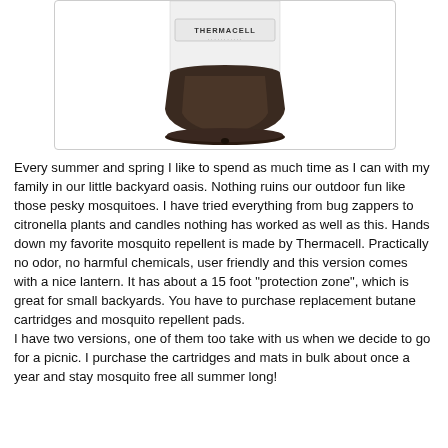[Figure (photo): Bottom portion of a Thermacell branded mosquito repellent lantern device. The base is dark brown/bronze colored and dome-shaped. A white cylindrical body is partially visible at the top. The Thermacell logo is visible on the white portion.]
Every summer and spring I like to spend as much time as I can with my family in our little backyard oasis. Nothing ruins our outdoor fun like those pesky mosquitoes. I have tried everything from bug zappers to citronella plants and candles nothing has worked as well as this. Hands down my favorite mosquito repellent is made by Thermacell. Practically no odor, no harmful chemicals, user friendly and this version comes with a nice lantern. It has about a 15 foot "protection zone", which is great for small backyards. You have to purchase replacement butane cartridges and mosquito repellent pads.
I have two versions, one of them too take with us when we decide to go for a picnic. I purchase the cartridges and mats in bulk about once a year and stay mosquito free all summer long!